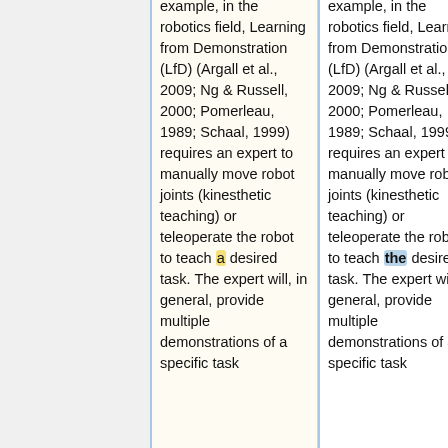example, in the robotics field, Learning from Demonstration (LfD) (Argall et al., 2009; Ng & Russell, 2000; Pomerleau, 1989; Schaal, 1999) requires an expert to manually move robot joints (kinesthetic teaching) or teleoperate the robot to teach a desired task. The expert will, in general, provide multiple demonstrations of a specific task
example, in the robotics field, Learning from Demonstration (LfD) (Argall et al., 2009; Ng & Russell, 2000; Pomerleau, 1989; Schaal, 1999) requires an expert to manually move robot joints (kinesthetic teaching) or teleoperate the robot to teach the desired task. The expert will, in general, provide multiple demonstrations of a specific task